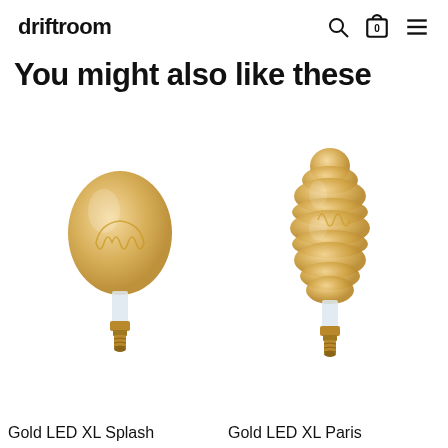driftroom
You might also like these
[Figure (photo): Gold LED XL Splash decorative amber glass light bulb with visible spiral filament and brass base]
[Figure (photo): Gold LED XL Paris decorative amber glass segmented/stacked bulb with visible spiral filament and brass base]
Gold LED XL Splash
Gold LED XL Paris